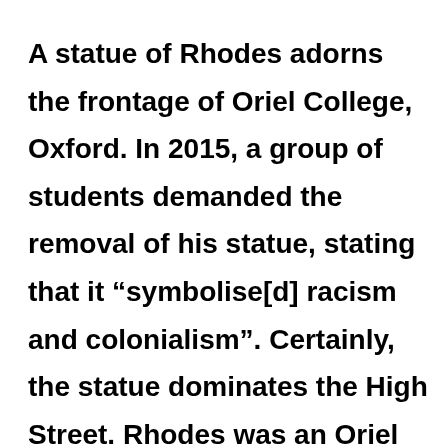A statue of Rhodes adorns the frontage of Oriel College, Oxford. In 2015, a group of students demanded the removal of his statue, stating that it “symbolise[d] racism and colonialism”. Certainly, the statue dominates the High Street. Rhodes was an Oriel alumnus and left the College £100,000 in his will, though he stipulated that his trustees should enquire closely